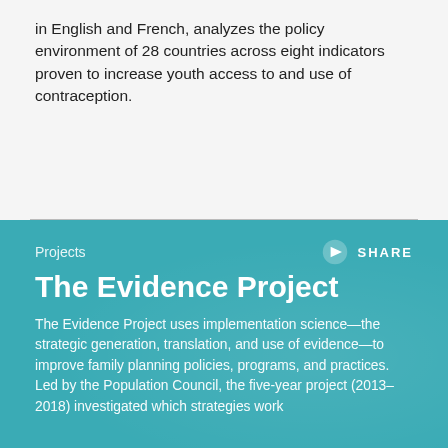in English and French, analyzes the policy environment of 28 countries across eight indicators proven to increase youth access to and use of contraception.
Projects
The Evidence Project
The Evidence Project uses implementation science—the strategic generation, translation, and use of evidence—to improve family planning policies, programs, and practices. Led by the Population Council, the five-year project (2013–2018) investigated which strategies work